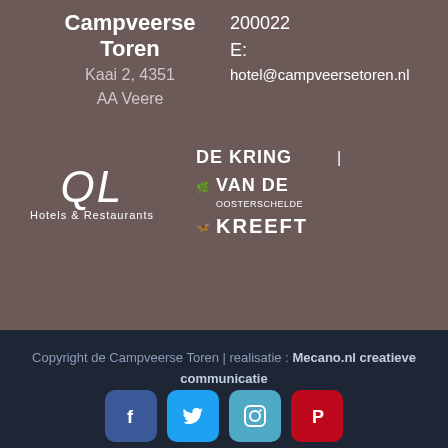Campveerse Toren
Kaai 2, 4351
AA Veere
200022
E:
hotel@campveersetoren.nl
[Figure (logo): QL Hotels & Restaurants logo in white]
[Figure (logo): De Kring Van De Oosterschelde Kreeft logo in white]
Copyright de Campveerse Toren | realisatie : Mecano.nl creatieve communicatie
[Figure (other): Social media icons: Facebook, Twitter, Instagram, Pinterest]